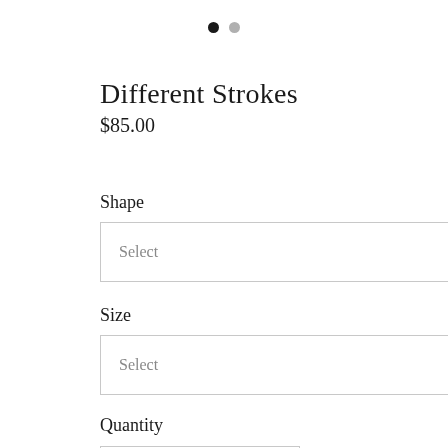[Figure (infographic): Two circular navigation dots: one filled black (active), one grey (inactive)]
Different Strokes
$85.00
Shape
Select
Size
Select
Quantity
1